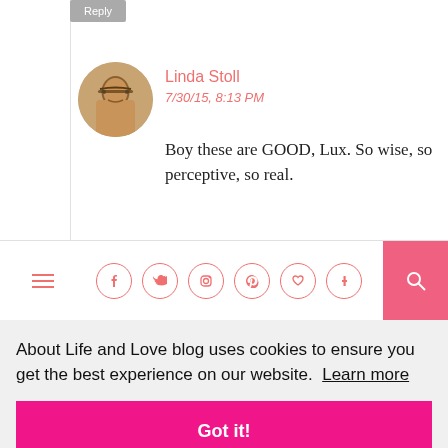Reply
Linda Stoll
7/30/15, 8:13 PM
Boy these are GOOD, Lux. So wise, so perceptive, so real.
[Figure (other): Social media navigation bar with hamburger menu, social icons (facebook, twitter, instagram, pinterest, heart/bloglovin, tumblr), and pink search button]
About Life and Love blog uses cookies to ensure you get the best experience on our website. Learn more
Got it!
i like lesson number six,